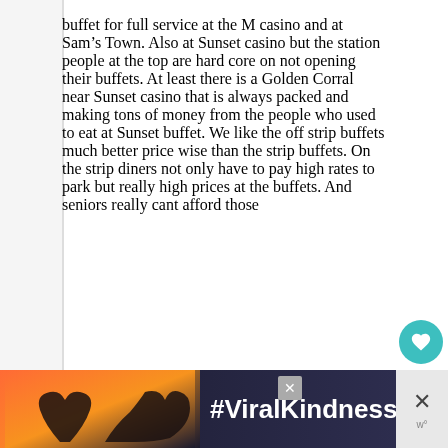buffet for full service at the M casino and at Sam's Town. Also at Sunset casino but the station people at the top are hard core on not opening their buffets. At least there is a Golden Corral near Sunset casino that is always packed and making tons of money from the people who used to eat at Sunset buffet. We like the off strip buffets much better price wise than the strip buffets. On the strip diners not only have to pay high rates to park but really high prices at the buffets. And seniors really cant afford those
[Figure (other): Advertisement banner with hands forming a heart shape against a sunset sky background, with text #ViralKindness]